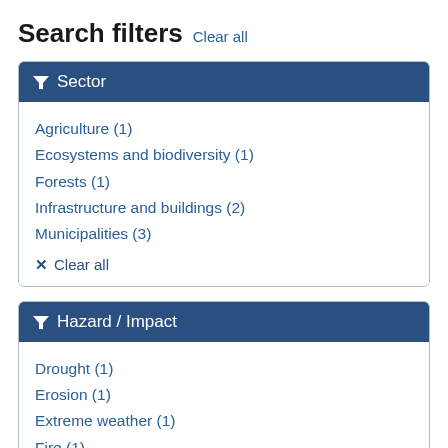Search filters Clear all
Sector
Agriculture (1)
Ecosystems and biodiversity (1)
Forests (1)
Infrastructure and buildings (2)
Municipalities (3)
Clear all
Hazard / Impact
Drought (1)
Erosion (1)
Extreme weather (1)
Fire (1)